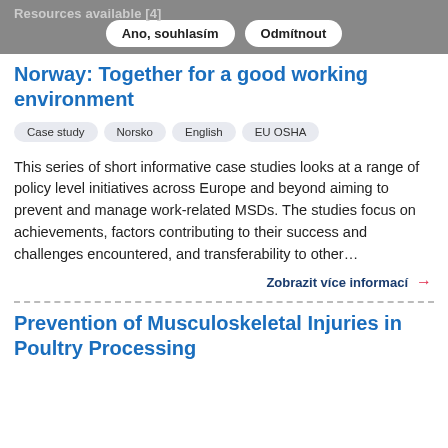Resources available [4]
Ano, souhlasím | Odmítnout
Norway: Together for a good working environment
Case study
Norsko
English
EU OSHA
This series of short informative case studies looks at a range of policy level initiatives across Europe and beyond aiming to prevent and manage work-related MSDs. The studies focus on achievements, factors contributing to their success and challenges encountered, and transferability to other…
Zobrazit více informací →
Prevention of Musculoskeletal Injuries in Poultry Processing